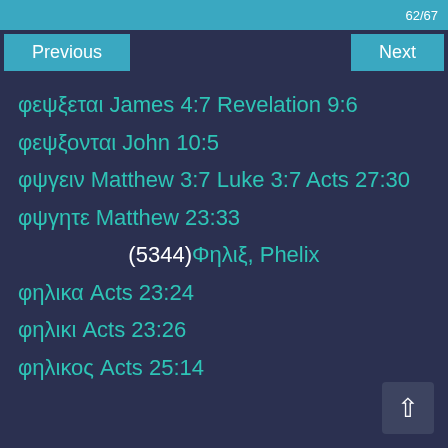62/67
Previous
Next
φεψξεται James 4:7 Revelation 9:6
φεψξονται John 10:5
φψγειν Matthew 3:7 Luke 3:7 Acts 27:30
φψγητε Matthew 23:33
(5344)Φηλιξ, Phelix
φηλικα Acts 23:24
φηλικι Acts 23:26
φηλικος Acts 25:14